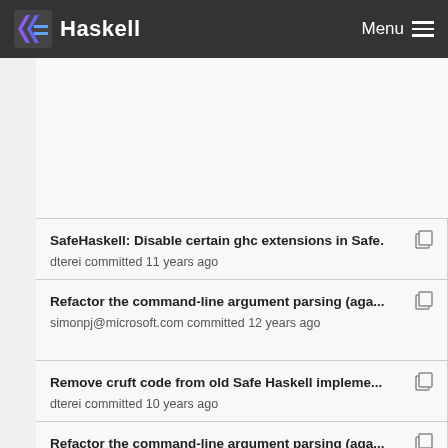Haskell  Menu
SafeHaskell: Disable certain ghc extensions in Safe.
dterei committed 11 years ago
Refactor the command-line argument parsing (aga...
simonpj@microsoft.com committed 12 years ago
Remove cruft code from old Safe Haskell impleme...
dterei committed 10 years ago
Refactor the command-line argument parsing (aga...
simonpj@microsoft.com committed 12 years ago